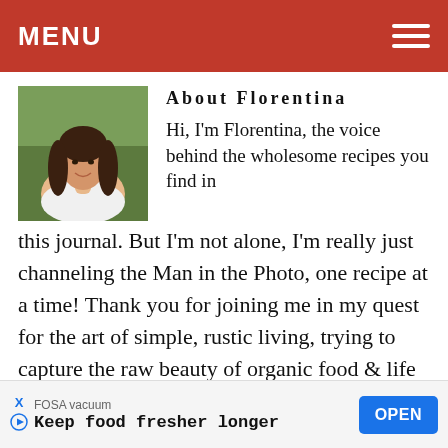MENU
[Figure (photo): Portrait photo of Florentina, a woman with long dark hair wearing a white top, outdoors with greenery in background]
About Florentina
Hi, I'm Florentina, the voice behind the wholesome recipes you find in this journal. But I'm not alone, I'm really just channeling the Man in the Photo, one recipe at a time! Thank you for joining me in my quest for the art of simple, rustic living, trying to capture the raw beauty of organic food & life through the lens of my Iphone and camera.
[Figure (screenshot): Advertisement banner: FOSA vacuum — Keep food fresher longer — OPEN button]